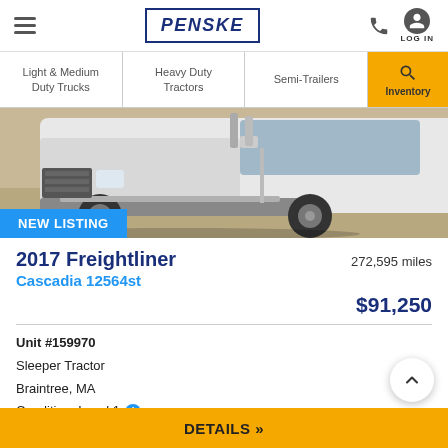PENSKE
Light & Medium Duty Trucks | Heavy Duty Tractors | Semi-Trailers | Inventory
[Figure (photo): Front-lower portion of a white 2017 Freightliner Cascadia semi truck cab, showing chrome wheels, tires, and gray front bumper, parked on gravel/dirt surface. Blue badge overlay reads NEW LISTING.]
NEW LISTING
2017 Freightliner
272,595 miles
Cascadia 12564st
$91,250
Unit #159970
Sleeper Tractor
Braintree, MA
Condition: Level 1
DETAILS »